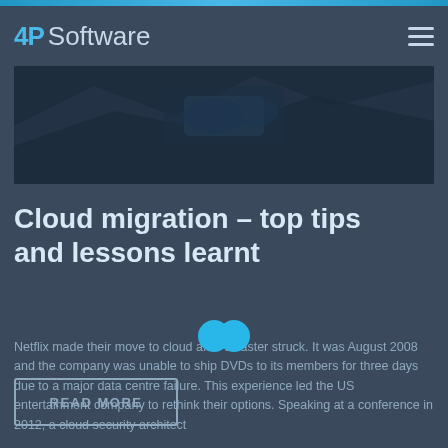4P Software
[Figure (photo): Dark blue hero banner image with abstract cloud/technology shapes]
Cloud migration – top tips and lessons learnt
Netflix made their move to cloud after disaster struck. It was August 2008 and the company was unable to ship DVDs to its members for three days due to a major data centre failure. This experience led the US entertainment company to rethink their options. Speaking at a conference in 2012, a cloud security architect
READ MORE